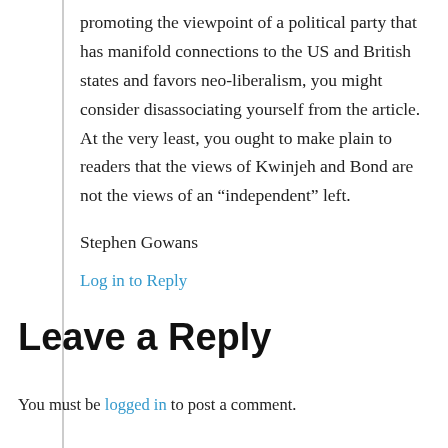promoting the viewpoint of a political party that has manifold connections to the US and British states and favors neo-liberalism, you might consider disassociating yourself from the article. At the very least, you ought to make plain to readers that the views of Kwinjeh and Bond are not the views of an “independent” left.
Stephen Gowans
Log in to Reply
Leave a Reply
You must be logged in to post a comment.